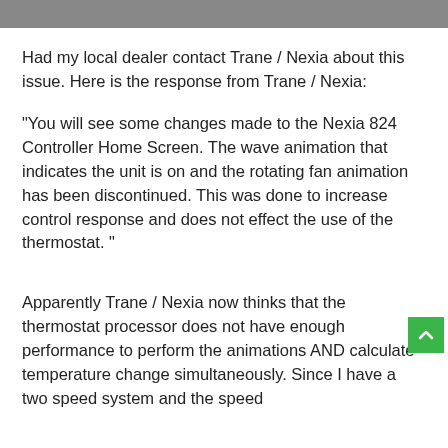Had my local dealer contact Trane / Nexia about this issue. Here is the response from Trane / Nexia:
"You will see some changes made to the Nexia 824 Controller Home Screen. The wave animation that indicates the unit is on and the rotating fan animation has been discontinued. This was done to increase control response and does not effect the use of the thermostat. "
Apparently Trane / Nexia now thinks that the thermostat processor does not have enough performance to perform the animations AND calculate temperature change simultaneously. Since I have a two speed system and the speed